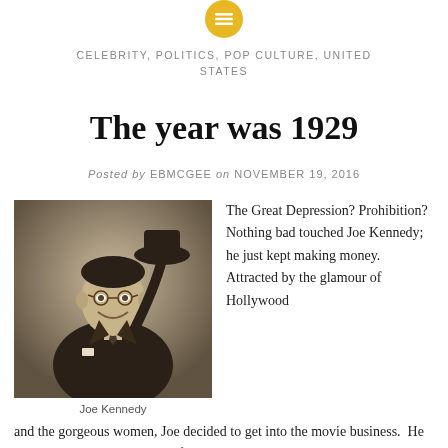[Figure (logo): Small circular gold/yellow icon with horizontal lines (hamburger menu or article icon)]
CELEBRITY, POLITICS, POP CULTURE, UNITED STATES
The year was 1929
Posted by EBMCGEE on NOVEMBER 19, 2016
[Figure (photo): Black and white sepia photograph of Joe Kennedy, a man in a suit smiling and tipping his hat]
Joe Kennedy
The Great Depression? Prohibition?  Nothing bad touched Joe Kennedy; he just kept making money. Attracted by the glamour of Hollywood and the gorgeous women, Joe decided to get into the movie business.  He wined and dined the hottest of